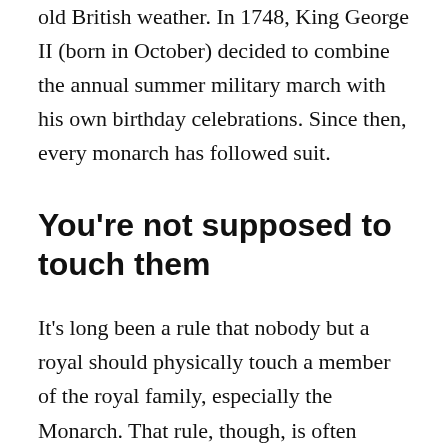old British weather. In 1748, King George II (born in October) decided to combine the annual summer military march with his own birthday celebrations. Since then, every monarch has followed suit.
You're not supposed to touch them
It's long been a rule that nobody but a royal should physically touch a member of the royal family, especially the Monarch. That rule, though, is often ignored nowadays. Michelle Obama famously hugged the Queen at Buckingham Palace in 2009. That's supposed to be a big 'no-no', but the Queen seemingly embraced it — some even say she initiated